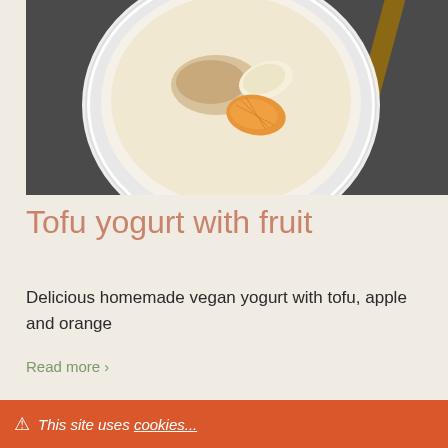[Figure (photo): Overhead view of a white bowl containing a creamy yogurt-like mixture topped with cinnamon/spice, a slice of apple, and orange segments, on a dark gray surface with a wooden utensil visible in the top right corner]
Tofu yogurt with fruit
Delicious homemade vegan yogurt with tofu, apple and orange
Read more ›
[Figure (photo): Partial view of a second food photo at the bottom of the page, showing what appears to be a dessert with chocolate]
⚠ This site uses cookies... OK